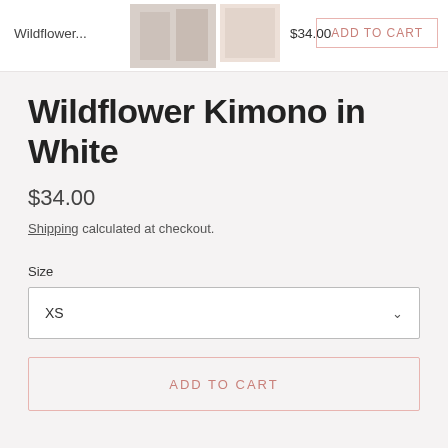[Figure (screenshot): Two product thumbnail images of the Wildflower Kimono in White]
Wildflower...
$34.00
ADD TO CART
Wildflower Kimono in White
$34.00
Shipping calculated at checkout.
Size
XS
ADD TO CART